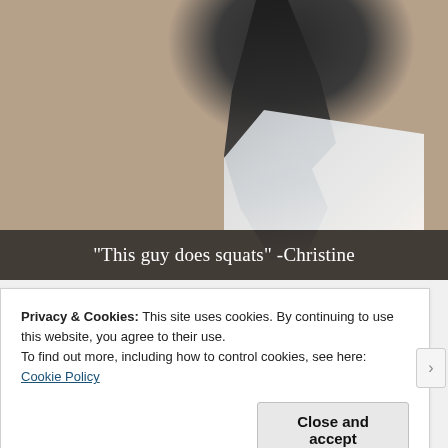[Figure (photo): A dark-colored animal (appears to be a dog or cat) in a squat-like pose on what looks like a white surface or furniture, against a beige/tan background. A Snapchat-style caption bar overlays the bottom of the image.]
"This guy does squats" -Christine
Privacy & Cookies: This site uses cookies. By continuing to use this website, you agree to their use.
To find out more, including how to control cookies, see here: Cookie Policy
Close and accept